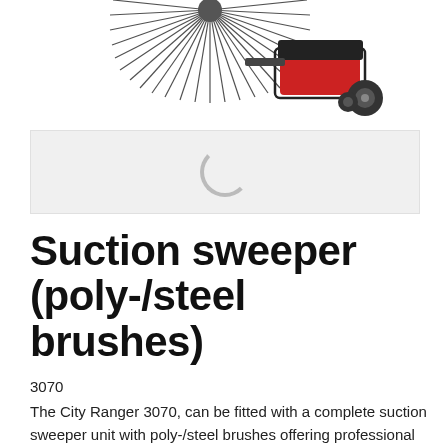[Figure (photo): Suction sweeper machine with poly-/steel brushes (City Ranger 3070 attachment) viewed from front-top, showing large circular brush array and red/black chassis with wheels]
[Figure (other): Loading spinner placeholder — grey rectangle with circular loading indicator (C shape)]
Suction sweeper (poly-/steel brushes)
3070
The City Ranger 3070, can be fitted with a complete suction sweeper unit with poly-/steel brushes offering professional sweeping performance. Recirculation water system included.